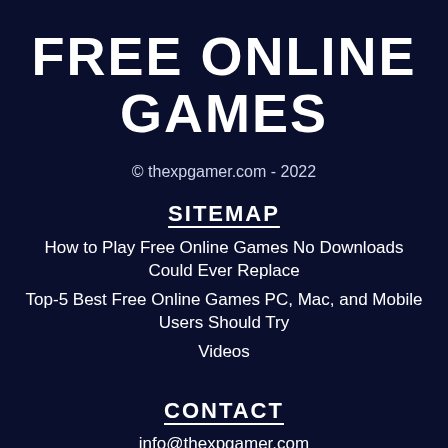FREE ONLINE GAMES
© thexpgamer.com - 2022
SITEMAP
How to Play Free Online Games No Downloads Could Ever Replace
Top-5 Best Free Online Games PC, Mac, and Mobile Users Should Try
Videos
CONTACT
info@thexpgamer.com